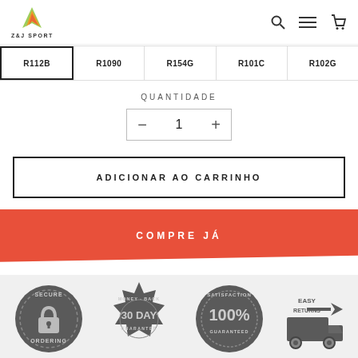Z&J SPORT
R112B
R1090
R154G
R101C
R102G
QUANTIDADE
− 1 +
ADICIONAR AO CARRINHO
COMPRE JÁ
[Figure (illustration): Trust badges: Secure Ordering lock badge, Money-Back 30 Day Guarantee stamp, Satisfaction 100% Guaranteed seal, Easy Returns truck icon]